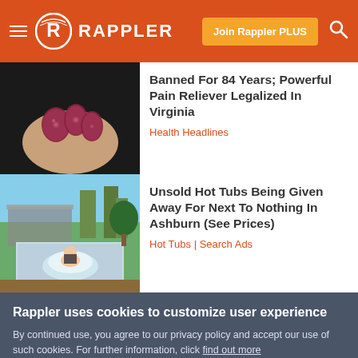RAPPLER
[Figure (photo): Hand holding red/purple gummy bear-shaped candies against dark background]
Banned For 84 Years; Powerful Pain Reliever Legalized In Virginia
Health Headlines
[Figure (photo): Woman relaxing in an outdoor hot tub with palm trees and house in background]
Unsold Hot Tubs Being Given Away For Next To Nothing In Ashburn (See Prices)
Hot Tubs | Search Ads
Rappler uses cookies to customize user experience
By continued use, you agree to our privacy policy and accept our use of such cookies. For further information, click find out more
I ACCEPT